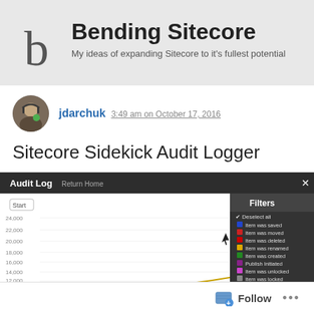Bending Sitecore
My ideas of expanding Sitecore to it's fullest potential
jdarchuk 3:49 am on October 17, 2016
Sitecore Sidekick Audit Logger
[Figure (screenshot): Screenshot of Sitecore Sidekick Audit Log interface showing a dark header bar with 'Audit Log' title, a line chart with y-axis values from 10,000 to 24,000, and a Filters panel on the right with checkboxes for various item events (Item was saved, Item was moved, Item was deleted, Item was renamed, Item was created, Publish Initiated, Item was unlocked, Item was locked).]
Follow ...